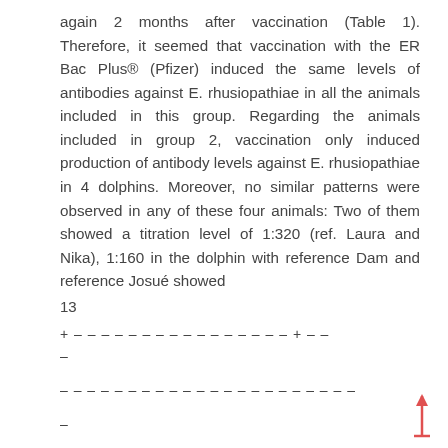again 2 months after vaccination (Table 1). Therefore, it seemed that vaccination with the ER Bac Plus® (Pfizer) induced the same levels of antibodies against E. rhusiopathiae in all the animals included in this group. Regarding the animals included in group 2, vaccination only induced production of antibody levels against E. rhusiopathiae in 4 dolphins. Moreover, no similar patterns were observed in any of these four animals: Two of them showed a titration level of 1:320 (ref. Laura and Nika), 1:160 in the dolphin with reference Dam and reference Josué showed
13
| + – – – – – – – – – – – – – – – – + – – |
| – |
| – – – – – – – – – – – – – – – – – – – – – – |
| – |